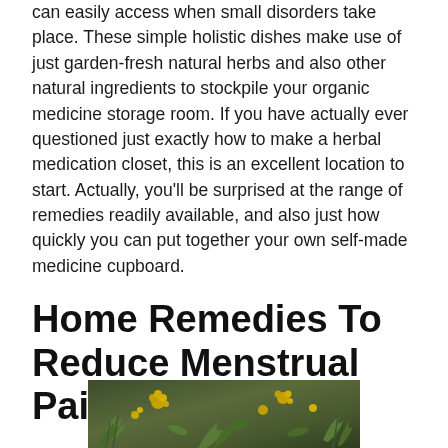can easily access when small disorders take place. These simple holistic dishes make use of just garden-fresh natural herbs and also other natural ingredients to stockpile your organic medicine storage room. If you have actually ever questioned just exactly how to make a herbal medication closet, this is an excellent location to start. Actually, you'll be surprised at the range of remedies readily available, and also just how quickly you can put together your own self-made medicine cupboard.
Home Remedies To Reduce Menstrual Pain
[Figure (photo): Photo of garden herbs and flowers on a dark background, showing various green herb sprigs and small yellow flowers arranged on a dark surface.]